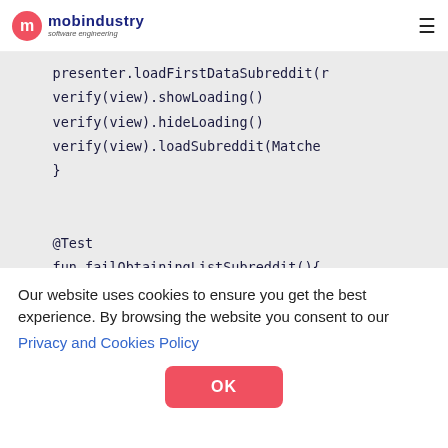mobindustry software engineering
[Figure (screenshot): Code snippet showing Kotlin test functions: presenter.loadFirstDataSubreddit(...), verify(view).showLoading(), verify(view).hideLoading(), verify(view).loadSubreddit(Matcher...), }, @Test, fun failObtainingListSubreddit(){]
Our website uses cookies to ensure you get the best experience. By browsing the website you consent to our
Privacy and Cookies Policy
OK